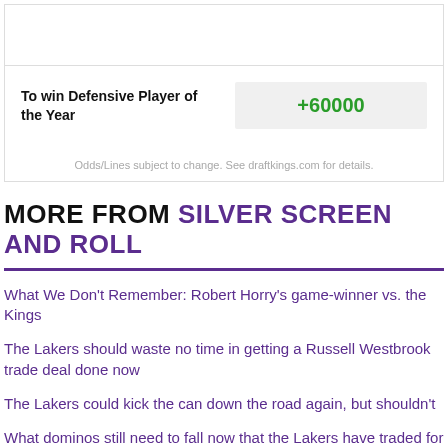| Bet | Odds |
| --- | --- |
| To win Defensive Player of the Year | +60000 |
Odds/Lines subject to change. See draftkings.com for details.
MORE FROM SILVER SCREEN AND ROLL
What We Don't Remember: Robert Horry's game-winner vs. the Kings
The Lakers should waste no time in getting a Russell Westbrook trade deal done now
The Lakers could kick the can down the road again, but shouldn't
What dominos still need to fall now that the Lakers have traded for Patrick Beverley?